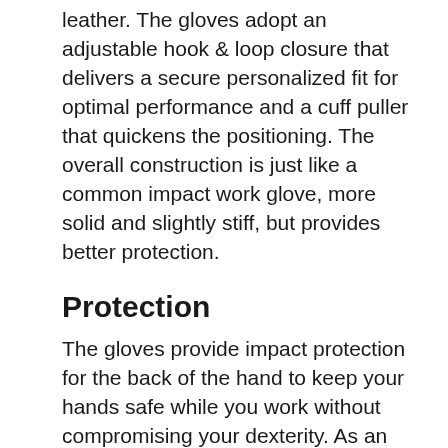leather. The gloves adopt an adjustable hook & loop closure that delivers a secure personalized fit for optimal performance and a cuff puller that quickens the positioning. The overall construction is just like a common impact work glove, more solid and slightly stiff, but provides better protection.
Protection
The gloves provide impact protection for the back of the hand to keep your hands safe while you work without compromising your dexterity. As an arborist, it’s ultimately essential to have comprehensive protection, especially on the job site.
Performance & Comfort